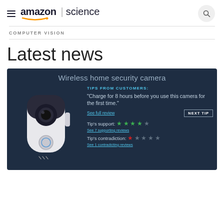amazon | science
COMPUTER VISION
Latest news
[Figure (screenshot): Amazon Science webpage screenshot showing a wireless home security camera product card with customer tips, star ratings for support and contradiction, and a 'Next Tip' button on a dark navy background.]